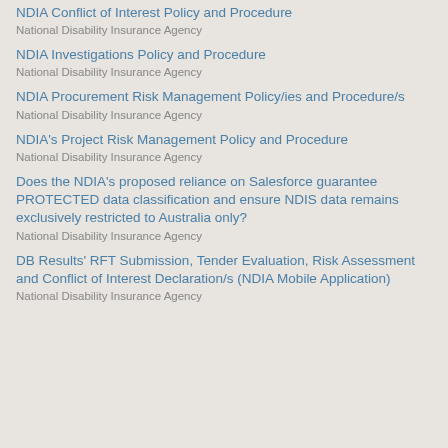NDIA Conflict of Interest Policy and Procedure
National Disability Insurance Agency
NDIA Investigations Policy and Procedure
National Disability Insurance Agency
NDIA Procurement Risk Management Policy/ies and Procedure/s
National Disability Insurance Agency
NDIA's Project Risk Management Policy and Procedure
National Disability Insurance Agency
Does the NDIA's proposed reliance on Salesforce guarantee PROTECTED data classification and ensure NDIS data remains exclusively restricted to Australia only?
National Disability Insurance Agency
DB Results' RFT Submission, Tender Evaluation, Risk Assessment and Conflict of Interest Declaration/s (NDIA Mobile Application)
National Disability Insurance Agency